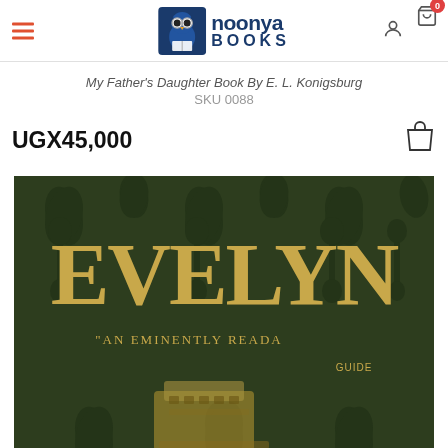[Figure (logo): Noonya Books logo with owl icon]
My Father's Daughter Book By E. L. Konigsburg
SKU 0088
UGX45,000
[Figure (photo): Book cover showing EVELYN in large gold letters on dark green damask background with text 'AN EMINENTLY READABLE...' and Guide subtitle]